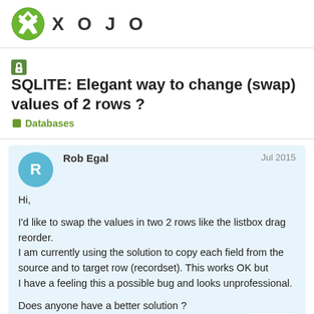[Figure (logo): Xojo logo: green circular icon with X shape and XOJO wordmark in bold spaced letters]
🔒SQLITE: Elegant way to change (swap) values of 2 rows ?
Databases
Rob Egal
Jul 2015
Hi,

I'd like to swap the values in two 2 rows like the listbox drag reorder.
I am currently using the solution to copy each field from the source and to target row (recordset). This works OK but
I have a feeling this a possible bug and looks unprofessional.

Does anyone have a better solution ?

dim rsSource as RecordSet = sel
1 / 12